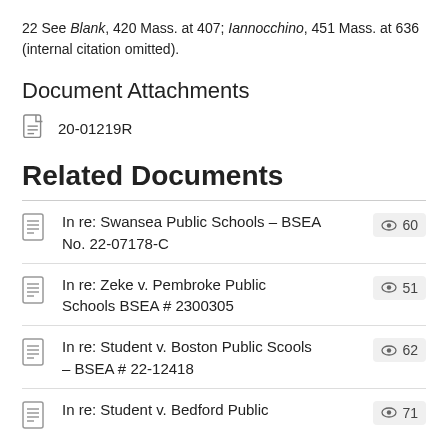22 See Blank, 420 Mass. at 407; Iannocchino, 451 Mass. at 636 (internal citation omitted).
Document Attachments
20-01219R
Related Documents
In re: Swansea Public Schools – BSEA No. 22-07178-C  60 views
In re: Zeke v. Pembroke Public Schools BSEA # 2300305  51 views
In re: Student v. Boston Public Scools – BSEA # 22-12418  62 views
In re: Student v. Bedford Public  71 views